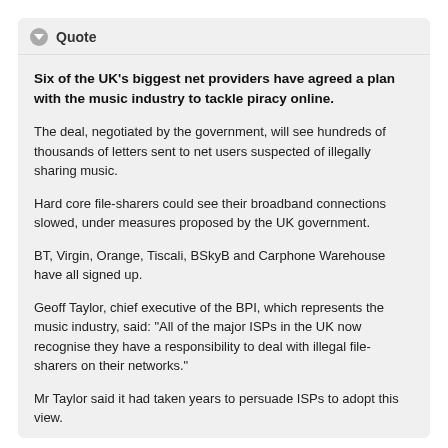Quote
Six of the UK's biggest net providers have agreed a plan with the music industry to tackle piracy online.
The deal, negotiated by the government, will see hundreds of thousands of letters sent to net users suspected of illegally sharing music.
Hard core file-sharers could see their broadband connections slowed, under measures proposed by the UK government.
BT, Virgin, Orange, Tiscali, BSkyB and Carphone Warehouse have all signed up.
Geoff Taylor, chief executive of the BPI, which represents the music industry, said: "All of the major ISPs in the UK now recognise they have a responsibility to deal with illegal file-sharers on their networks."
Mr Taylor said it had taken years to persuade ISPs to adopt this view.